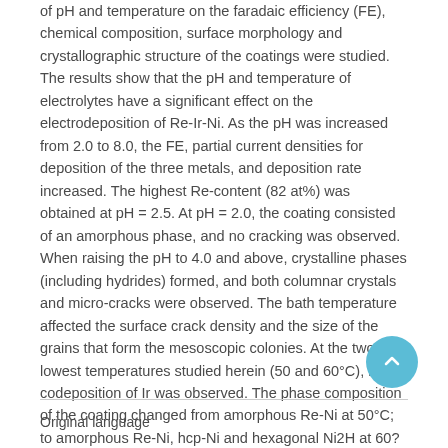of pH and temperature on the faradaic efficiency (FE), chemical composition, surface morphology and crystallographic structure of the coatings were studied. The results show that the pH and temperature of electrolytes have a significant effect on the electrodeposition of Re-Ir-Ni. As the pH was increased from 2.0 to 8.0, the FE, partial current densities for deposition of the three metals, and deposition rate increased. The highest Re-content (82 at%) was obtained at pH = 2.5. At pH = 2.0, the coating consisted of an amorphous phase, and no cracking was observed. When raising the pH to 4.0 and above, crystalline phases (including hydrides) formed, and both columnar crystals and micro-cracks were observed. The bath temperature affected the surface crack density and the size of the grains that form the mesoscopic colonies. At the two lowest temperatures studied herein (50 and 60°C), no codeposition of Ir was observed. The phase composition of the coating changed from amorphous Re-Ni at 50°C; to amorphous Re-Ni, hcp-Ni and hexagonal Ni2H at 60?C; to hcp-Ir0.4Re0.6, hcp-Ni and hexagonal Ni2H at higher temperatures.
Original language